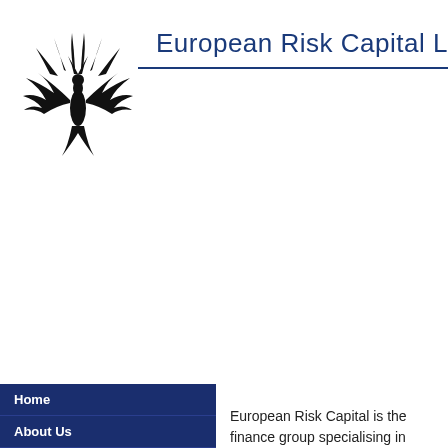[Figure (logo): Black phoenix/eagle logo with spread wings, stylized tribal design]
European Risk Capital L
Home
About Us
European Risk Capital is the finance group specialising in